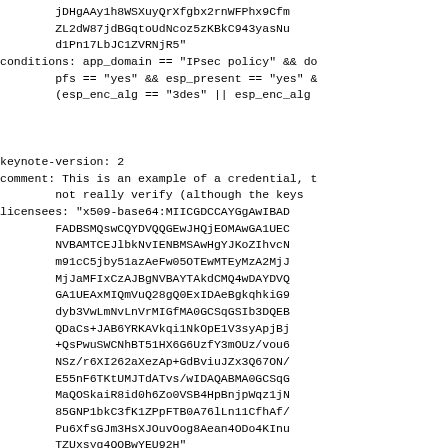jDHgAAy1h8WSXuyQrXfgbx2rnWFPhx9Cfm
ZL2dW87jdBGqtoUdNcoz5zKBkC943yasNu
d1Pn17LbJC1ZVRNjR5"
conditions: app_domain == "IPsec policy" && do
        pfs == "yes" && esp_present == "yes" &
        (esp_enc_alg == "3des" || esp_enc_alg


keynote-version: 2
comment: This is an example of a credential, t
        not really verify (although the keys
licensees: "x509-base64:MIICGDCCAYGgAwIBAD
        FADBSMQswCQYDVQQGEwJHQjEOMAwGA1UEC
        NVBAMTCEJlbkNvIENBMSAwHgYJKoZIhvcN
        m91cC5jby51azAeFw05OTEwMTEyMzA2MjJ
        MjJaMFIxCzAJBgNVBAYTAkdCMQ4wDAYDVQ
        GA1UEAxMIQmVuQ28gQ0ExIDAeBgkqhkiG9
        dyb3VwLmNvLnVrMIGfMA0GCSqGSIb3DQEB
        QDaCs+JAB6YRKAVkqi1NkOpE1V3syApjBj
        +QsPwuSWCNhBT51HX6G6UzfY3mOUz/vou6
        NSz/r6XI262aXezAp+GdBviuJZx3Q67ON/
        E55nF6TKtUMJTdATvs/wIDAQABMA0GCSqG
        MaQOSkaiR8id0h6Zo0VSB4HpBnjpWqz1jN
        85GNP1bkC3fK1ZPpFTB0A76lLn11CfhAf/
        Pu6XfsGJm3HsXJOuvOog8Aean4ODo4KInu
        TZUxsyg4QOBwYEU92H"
authorizer: "x509-base64:MIICGDCCAYGgAwIBAgIBA